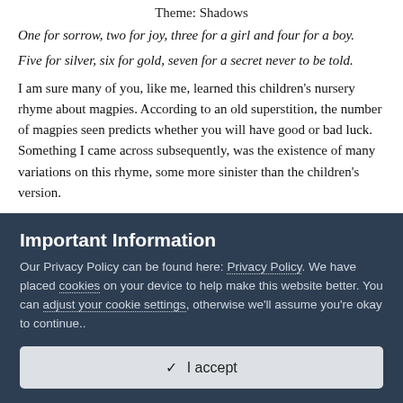Theme: Shadows
One for sorrow, two for joy, three for a girl and four for a boy.
Five for silver, six for gold, seven for a secret never to be told.
I am sure many of you, like me, learned this children's nursery rhyme about magpies. According to an old superstition, the number of magpies seen predicts whether you will have good or bad luck. Something I came across subsequently, was the existence of many variations on this rhyme, some more sinister than the children's version.
One of those is incorporated into this short story about boyhood
Important Information
Our Privacy Policy can be found here: Privacy Policy. We have placed cookies on your device to help make this website better. You can adjust your cookie settings, otherwise we'll assume you're okay to continue..
✓  I accept